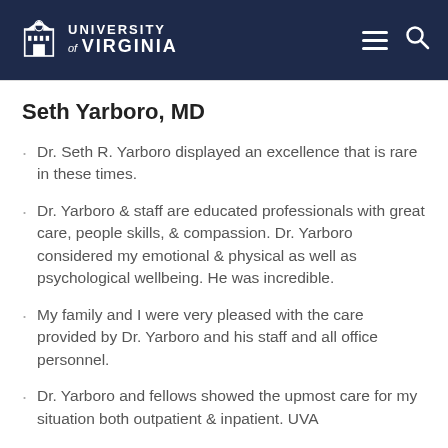University of Virginia
Seth Yarboro, MD
Dr. Seth R. Yarboro displayed an excellence that is rare in these times.
Dr. Yarboro & staff are educated professionals with great care, people skills, & compassion. Dr. Yarboro considered my emotional & physical as well as psychological wellbeing. He was incredible.
My family and I were very pleased with the care provided by Dr. Yarboro and his staff and all office personnel.
Dr. Yarboro and fellows showed the upmost care for my situation both outpatient & inpatient. UVA